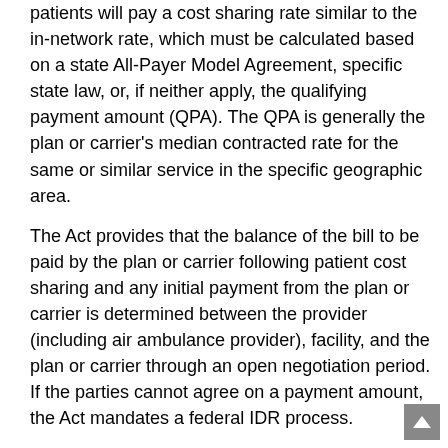patients will pay a cost sharing rate similar to the in-network rate, which must be calculated based on a state All-Payer Model Agreement, specific state law, or, if neither apply, the qualifying payment amount (QPA). The QPA is generally the plan or carrier's median contracted rate for the same or similar service in the specific geographic area.
The Act provides that the balance of the bill to be paid by the plan or carrier following patient cost sharing and any initial payment from the plan or carrier is determined between the provider (including air ambulance provider), facility, and the plan or carrier through an open negotiation period. If the parties cannot agree on a payment amount, the Act mandates a federal IDR process.
The IDR process applies only to:
Balance billing for emergency services; cost-sharing for emergency services must be determined on an in-network basis.